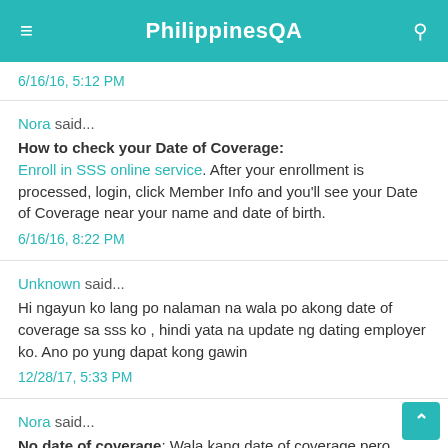PhilippinesQA
6/16/16, 5:12 PM
Nora said... How to check your Date of Coverage: Enroll in SSS online service. After your enrollment is processed, login, click Member Info and you'll see your Date of Coverage near your name and date of birth. 6/16/16, 8:22 PM
Unknown said... Hi ngayun ko lang po nalaman na wala po akong date of coverage sa sss ko , hindi yata na update ng dating employer ko. Ano po yung dapat kong gawin 12/28/17, 5:33 PM
Nora said... No date of coverage: Wala kang date of coverage pero meron kang mga posted contributions? Ang status mo ba sa online account mo ay Employed?